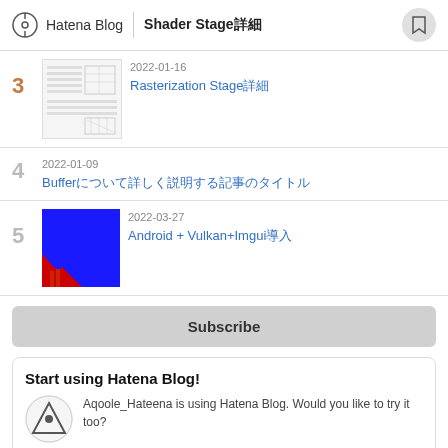Hatena Blog | Shader Stage詳細
3 | 2022-01-16 | Rasterization Stage詳細
4 | 2022-01-09 | Bufferについて詳しく説明する記事
5 | 2022-03-27 | Android + Vulkan+Imgui導入
Subscribe
Start using Hatena Blog!
Aqoole_Hateena is using Hatena Blog. Would you like to try it too?